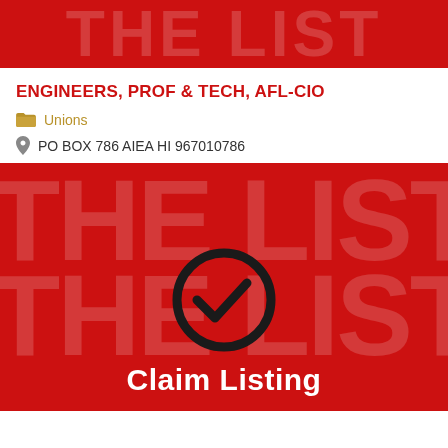[Figure (illustration): Red banner header with faint white text watermark in background]
ENGINEERS, PROF & TECH, AFL-CIO
Unions
PO BOX 786 AIEA HI 967010786
[Figure (illustration): Red background banner with large checkmark-circle icon and 'Claim Listing' text in white bold font]